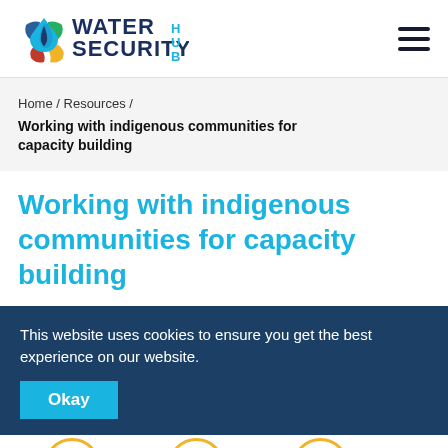[Figure (logo): Water Security Hub logo with colorful water drop icon and dark blue text reading WATER SECURITY HUB]
[Figure (other): Hamburger menu icon with three dark horizontal lines]
Home / Resources /
Working with indigenous communities for capacity building
Working with indigenous communities for capacity building
This website uses cookies to ensure you get the best experience on our website.
Okay